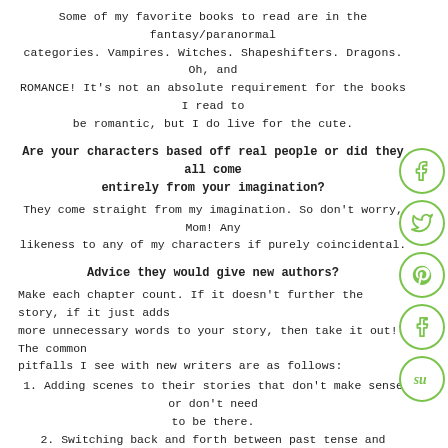Some of my favorite books to read are in the fantasy/paranormal categories. Vampires. Witches. Shapeshifters. Dragons. Oh, and ROMANCE! It's not an absolute requirement for the books I read to be romantic, but I do live for the cute.
Are your characters based off real people or did they all come entirely from your imagination?
They come straight from my imagination. So don't worry, Mom! Any likeness to any of my characters if purely coincidental.
Advice they would give new authors?
Make each chapter count. If it doesn't further the story, if it just adds more unnecessary words to your story, then take it out! The common pitfalls I see with new writers are as follows:
1. Adding scenes to their stories that don't make sense or don't need to be there.
2. Switching back and forth between past tense and present tense.
3. Adding too many dialogue tags.
4. Writing with passive voice.
Do you believe in writer's block?